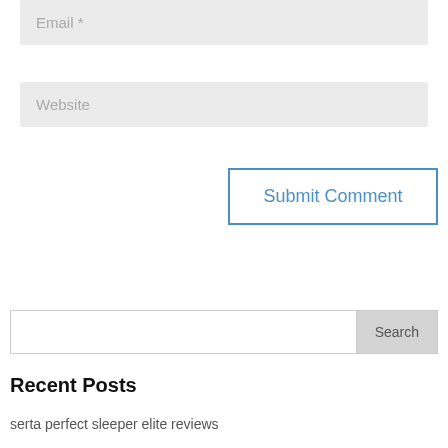Email *
Website
Submit Comment
Search
Recent Posts
serta perfect sleeper elite reviews